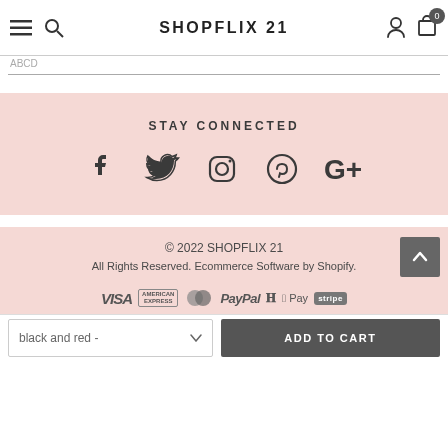SHOPFLIX 21
STAY CONNECTED
[Figure (infographic): Social media icons: Facebook, Twitter, Instagram, Pinterest, Google+]
© 2022 SHOPFLIX 21
All Rights Reserved. Ecommerce Software by Shopify.
[Figure (infographic): Payment method logos: VISA, American Express, Mastercard, PayPal, Apple Pay, Stripe]
black and red -
ADD TO CART